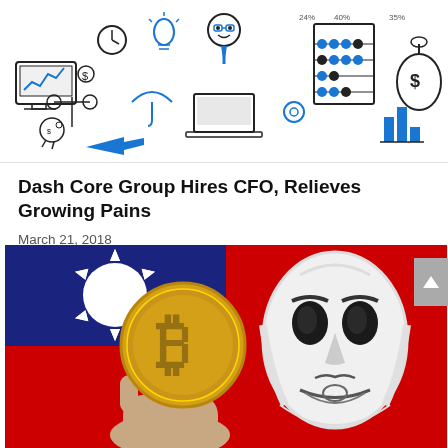[Figure (illustration): Banner illustration showing financial and business icons: charts, calculator, clock, lightbulb, laptop, abacus, umbrella, piggy bank, money bags, bar graphs, scales, gears — drawn in black and blue line art style]
Dash Core Group Hires CFO, Relieves Growing Pains
March 21, 2018
[Figure (photo): Photo composite: Taiwan flag background (blue and red with white sun symbol) on left half; a hand holding a large gold Bitcoin coin in the center-left; a Guy Fawkes/anonymous white mask on the right side against a red background]